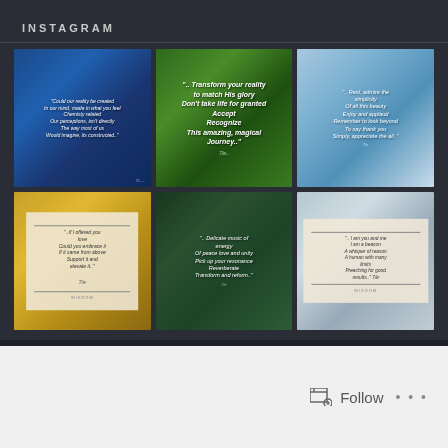INSTAGRAM
[Figure (photo): Instagram grid of 6 photos with inspirational quotes. Top row: 1) Blue artistic/painted background with quote about reality and mind. 2) Green leaves with butterfly, quote about transforming reality to match His glory. 3) Sailboat on blue water, quote about rest and simplicity. Bottom row: 4) Colorful textured background with paper overlay quote about love. 5) Butterfly on pink flowers, quote about delicate music of energy. 6) Heron by water, quote about being a beacon.]
Follow ...